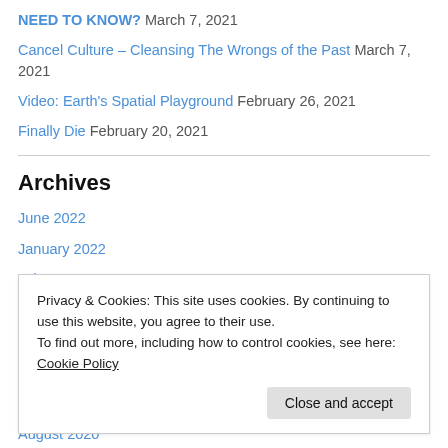NEED TO KNOW? March 7, 2021
Cancel Culture – Cleansing The Wrongs of the Past March 7, 2021
Video: Earth's Spatial Playground February 26, 2021
Finally Die February 20, 2021
Archives
June 2022
January 2022
July 2021
June 2021
May 2021
April 2021
Privacy & Cookies: This site uses cookies. By continuing to use this website, you agree to their use. To find out more, including how to control cookies, see here: Cookie Policy
Close and accept
August 2020